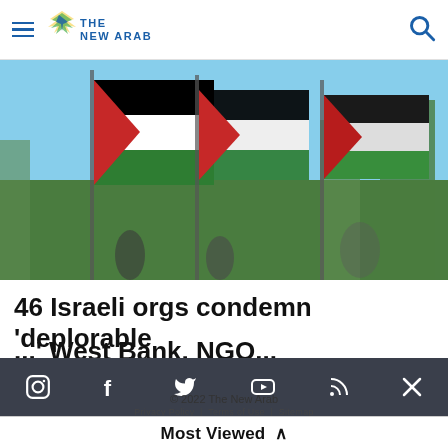The New Arab — navigation bar with hamburger menu and search icon
[Figure (photo): Palestinian flags being waved against a background of trees and sky]
46 Israeli orgs condemn 'deplorable ...' (West Bank, NGO — partially cut off)
Social media icons bar: Instagram, Facebook, Twitter, YouTube, RSS, X
MENA
© 2022 The New Arab
Privacy Policy  |  Terms of Use  |  Sitemap
Most Viewed ˄